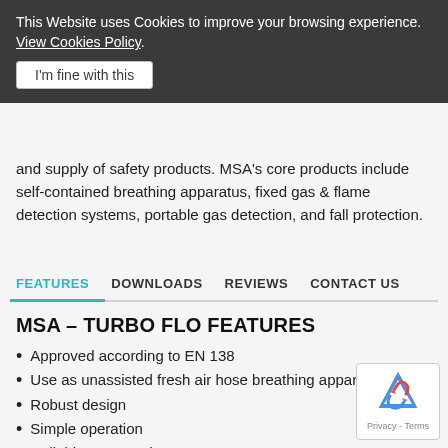This Website uses Cookies to improve your browsing experience. View Cookies Policy.
I'm fine with this
and supply of safety products. MSA's core products include self-contained breathing apparatus, fixed gas & flame detection systems, portable gas detection, and fall protection.
FEATURES    DOWNLOADS    REVIEWS    CONTACT US
MSA – TURBO FLO FEATURES
Approved according to EN 138
Use as unassisted fresh air hose breathing apparatus
Robust design
Simple operation
Reliable construction
Easy to carry
Little maintenance
Blower assisted breathing
x1 Plastic storage box included